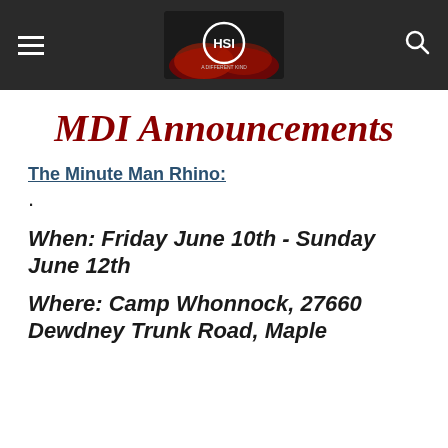MDI Announcements — HSI website header with hamburger menu and search icon
MDI Announcements
The Minute Man Rhino:
.
When: Friday June 10th - Sunday June 12th
Where: Camp Whonnock, 27660 Dewdney Trunk Road, Maple